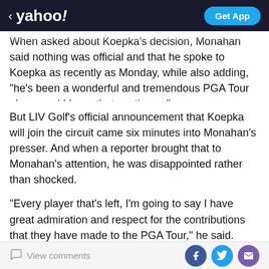< yahoo! | Get App
When asked about Koepka's decision, Monahan said nothing was official and that he spoke to Koepka as recently as Monday, while also adding, "he's been a wonderful and tremendous PGA Tour player and I hope that continues."
But LIV Golf’s official announcement that Koepka will join the circuit came six minutes into Monahan's presser. And when a reporter brought that to Monahan's attention, he was disappointed rather than shocked.
"Every player that's left, I'm going to say I have great admiration and respect for the contributions that they have made to the PGA Tour," he said. "And I'm disappointed that Brooks Koepka has left and has joined
View comments